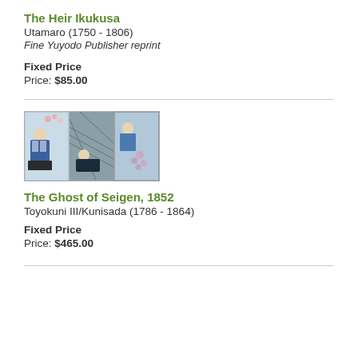The Heir Ikukusa
Utamaro (1750 - 1806)
Fine Yuyodo Publisher reprint
Fixed Price
Price: $85.00
[Figure (photo): Japanese woodblock triptych print showing The Ghost of Seigen]
The Ghost of Seigen, 1852
Toyokuni III/Kunisada (1786 - 1864)
Fixed Price
Price: $465.00